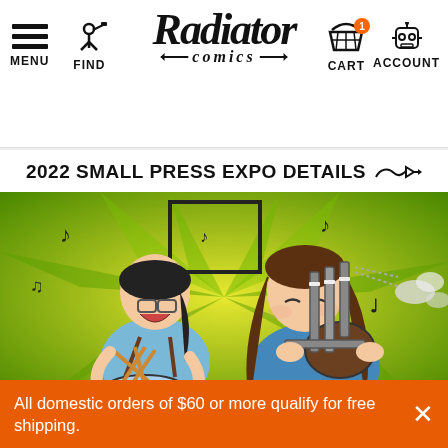MENU  FIND  Radiator Comics  CART  ACCOUNT
2022 SMALL PRESS EXPO DETAILS →
[Figure (illustration): Comic illustration of two women playing music: one laughing and playing a drum/snare with drumsticks, wearing glasses and a blue shirt; the other playing bagpipes with long brown hair and a blue top. Green and yellow spiky background with musical notes.]
All domestic orders of $60 or more qualify for free shipping.